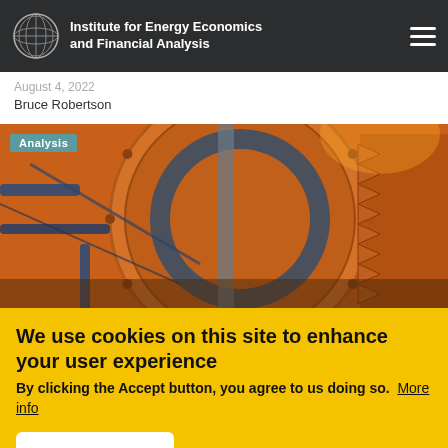Institute for Energy Economics and Financial Analysis
Bruce Robertson
[Figure (photo): Industrial mining or energy machinery — large orange/rust-colored rotating drum or mill with blue mechanical components, cables, and gear mechanisms]
We use cookies on this site to enhance your user experience
By clicking the Accept button, you agree to us doing so. More info
ACCEPT   No, thanks